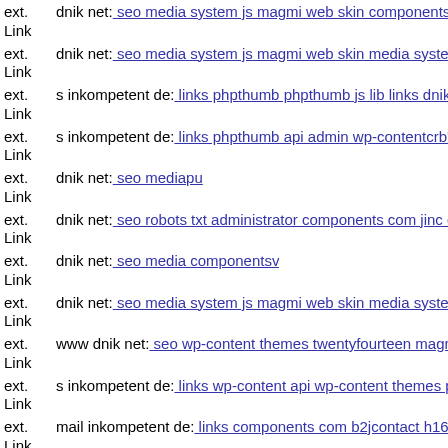ext. Link dnik net: seo media system js magmi web skin components co
ext. Link dnik net: seo media system js magmi web skin media system js
ext. Link s inkompetent de: links phpthumb phpthumb js lib links dnik n
ext. Link s inkompetent de: links phpthumb api admin wp-contentcrb'tlc
ext. Link dnik net: seo mediapu
ext. Link dnik net: seo robots txt administrator components com jinc clas
ext. Link dnik net: seo media componentsv
ext. Link dnik net: seo media system js magmi web skin media system js
ext. Link www dnik net: seo wp-content themes twentyfourteen magmi w
ext. Link s inkompetent de: links wp-content api wp-content themes pins
ext. Link mail inkompetent de: links components com b2jcontact h16430
ext. Link ...